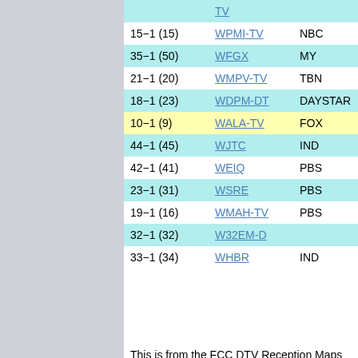| Channel | Call Sign | Network | City |
| --- | --- | --- | --- |
|  | TV |  |  |
| 15-1 (15) | WPMI-TV | NBC | MOBILE |
| 35-1 (50) | WFGX | MY | FORT WA... |
| 21-1 (20) | WMPV-TV | TBN | MOBILE |
| 18-1 (23) | WDPM-DT | DAYSTAR | MOBILE |
| 10-1 (9) | WALA-TV | FOX | MOBILE |
| 44-1 (45) | WJTC | IND | PENSACO... |
| 42-1 (41) | WEIQ | PBS | MOBILE |
| 23-1 (31) | WSRE | PBS | PENSACO... |
| 19-1 (16) | WMAH-TV | PBS | BILOXI |
| 32-1 (32) | W32EM-D |  | LUMBER... |
| 33-1 (34) | WHBR | IND | PENSACO... |
This is from the FCC DTV Reception Maps site: